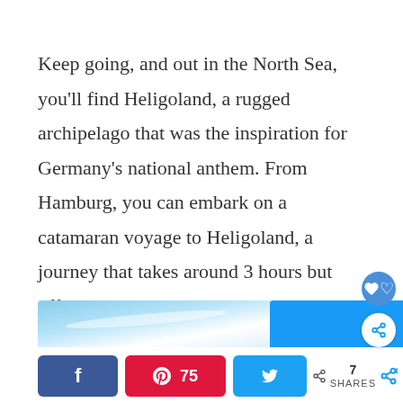Keep going, and out in the North Sea, you'll find Heligoland, a rugged archipelago that was the inspiration for Germany's national anthem. From Hamburg, you can embark on a catamaran voyage to Heligoland, a journey that takes around 3 hours but offers spectacular scenery on the way there and back.
[Figure (photo): Two partial images at the bottom: left shows a blue sky with wispy clouds, right shows a solid blue rectangle. Below are social sharing buttons: Facebook, Pinterest (75), Twitter, and a share count of 7.]